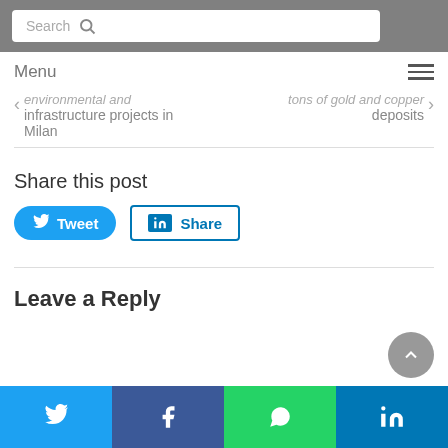Search
Menu
environmental and infrastructure projects in Milan
tons of gold and copper deposits
Share this post
Tweet  Share
Leave a Reply
Twitter  Facebook  WhatsApp  LinkedIn